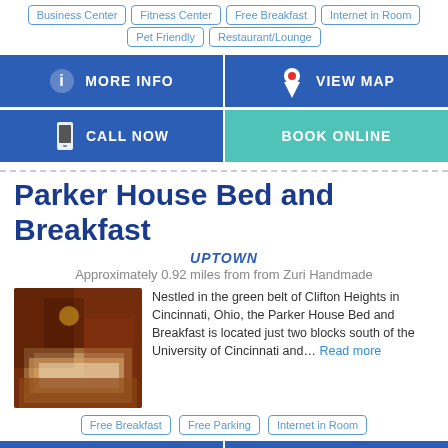Business Center
Fitness Center
Free Breakfast
Internet in Room
Pet Friendly
Restaurant/Lounge
MORE INFO
VIEW MAP
CALL NOW
BOOK ONLINE
Parker House Bed and Breakfast
UPTOWN
Approximately 0.92 miles from from Zuri Handmade
Nestled in the green belt of Clifton Heights in Cincinnati, Ohio, the Parker House Bed and Breakfast is located just two blocks south of the University of Cincinnati and... Read more
Free Breakfast
Free Parking
Internet in Room